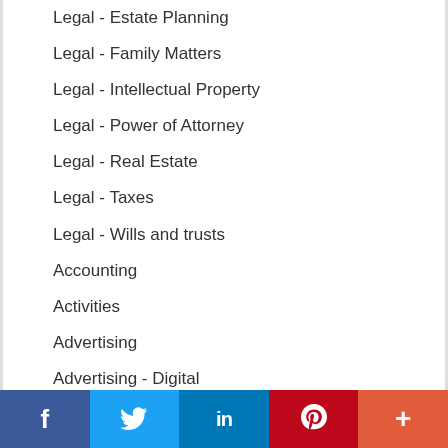Legal - Estate Planning
Legal - Family Matters
Legal - Intellectual Property
Legal - Power of Attorney
Legal - Real Estate
Legal - Taxes
Legal - Wills and trusts
Accounting
Activities
Advertising
Advertising - Digital
Advertising - Listings
Advertising - Self-serve
Advertising - Services
[Figure (infographic): Social share bar with Facebook, Twitter, LinkedIn, Pinterest, and More buttons]